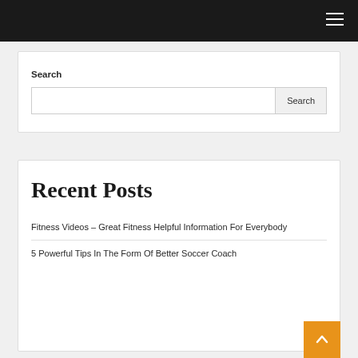Search
Recent Posts
Fitness Videos – Great Fitness Helpful Information For Everybody
5 Powerful Tips In The Form Of Better Soccer Coach